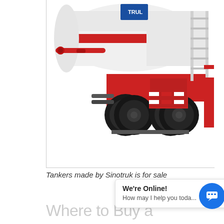[Figure (photo): A Sinotruk fuel tanker semi-trailer truck, showing the white and red cylindrical tank on the rear axle section with dual tires, red chassis, ladder/steps on the right side, and partial view of the tank top with a blue logo. The lower portion of the image is white/empty.]
Tankers made by Sinotruk is for sale
We're Online! How may I help you toda...
Where to Buy a